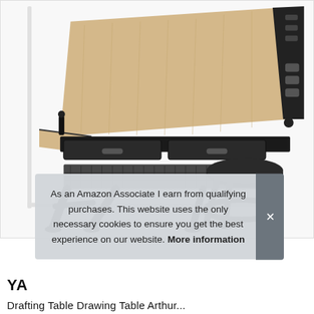[Figure (photo): A drafting/drawing table with a tilted light wood top surface, black metal frame, two drawers underneath, a side extension shelf, a mesh lower shelf, and a black padded round stool with circular footrest.]
As an Amazon Associate I earn from qualifying purchases. This website uses the only necessary cookies to ensure you get the best experience on our website. More information
YA
Drafting Table Drawing Table Arthur...